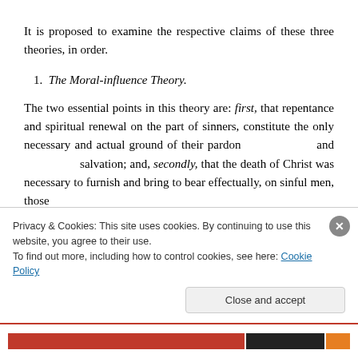It is proposed to examine the respective claims of these three theories, in order.
1. The Moral-influence Theory.
The two essential points in this theory are: first, that repentance and spiritual renewal on the part of sinners, constitute the only necessary and actual ground of their pardon and salvation; and, secondly, that the death of Christ was necessary to furnish and bring to bear effectually, on sinful men, those
Privacy & Cookies: This site uses cookies. By continuing to use this website, you agree to their use.
To find out more, including how to control cookies, see here: Cookie Policy
Close and accept